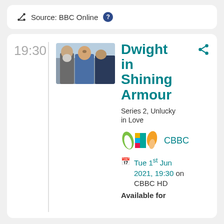Source: BBC Online ?
19:30
[Figure (photo): Show thumbnail image of Dwight in Shining Armour with actors in medieval setting]
Dwight in Shining Armour
Series 2, Unlucky in Love
[Figure (logo): CBBC channel logo]
CBBC
Tue 1st Jun 2021, 19:30 on CBBC HD
Available for